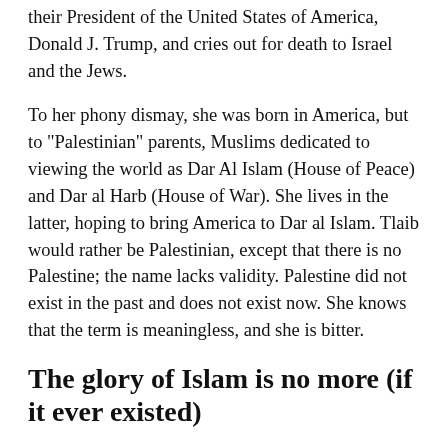their President of the United States of America, Donald J. Trump, and cries out for death to Israel and the Jews.
To her phony dismay, she was born in America, but to "Palestinian" parents, Muslims dedicated to viewing the world as Dar Al Islam (House of Peace) and Dar al Harb (House of War). She lives in the latter, hoping to bring America to Dar al Islam. Tlaib would rather be Palestinian, except that there is no Palestine; the name lacks validity. Palestine did not exist in the past and does not exist now. She knows that the term is meaningless, and she is bitter.
The glory of Islam is no more (if it ever existed)
Another resentment she bears is that the glory days of Islam are gone, overshadowed by the successes of the western world. If the Golden Age ends, to Islam is…